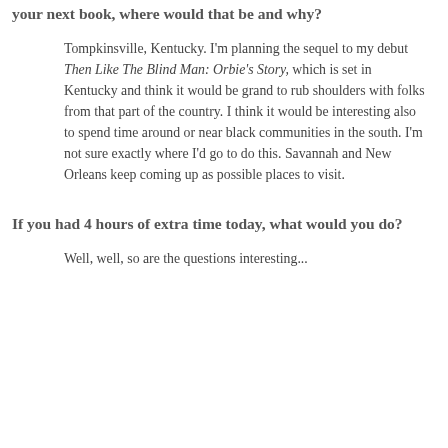your next book, where would that be and why?
Tompkinsville, Kentucky. I'm planning the sequel to my debut Then Like The Blind Man: Orbie's Story, which is set in Kentucky and think it would be grand to rub shoulders with folks from that part of the country. I think it would be interesting also to spend time around or near black communities in the south. I'm not sure exactly where I'd go to do this. Savannah and New Orleans keep coming up as possible places to visit.
If you had 4 hours of extra time today, what would you do?
Well, well, so are the questions interesting...